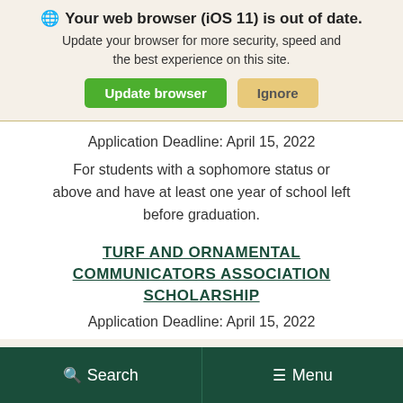🌐 Your web browser (iOS 11) is out of date. Update your browser for more security, speed and the best experience on this site.
Update browser | Ignore
Application Deadline: April 15, 2022
For students with a sophomore status or above and have at least one year of school left before graduation.
TURF AND ORNAMENTAL COMMUNICATORS ASSOCIATION SCHOLARSHIP
Application Deadline: April 15, 2022
Search   Menu